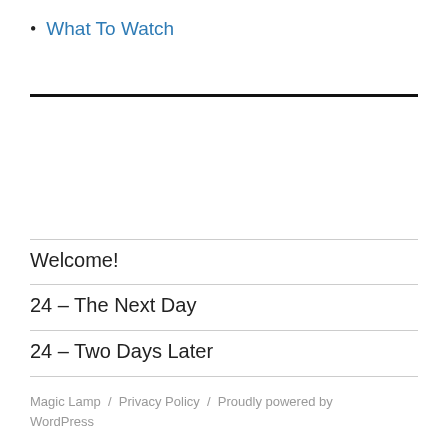What To Watch
Welcome!
24 – The Next Day
24 – Two Days Later
Magic Lamp / Privacy Policy / Proudly powered by WordPress